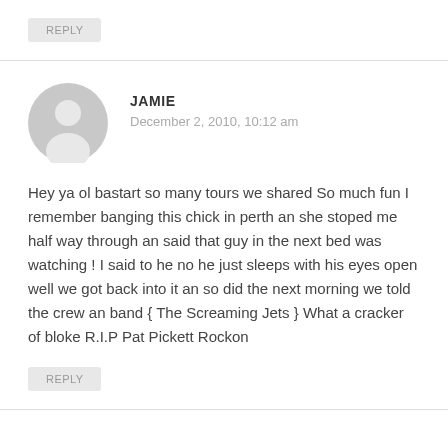REPLY
JAMIE
December 2, 2010, 10:12 am
Hey ya ol bastart so many tours we shared So much fun I remember banging this chick in perth an she stoped me half way through an said that guy in the next bed was watching ! I said to he no he just sleeps with his eyes open well we got back into it an so did the next morning we told the crew an band { The Screaming Jets } What a cracker of bloke R.I.P Pat Pickett Rockon
REPLY